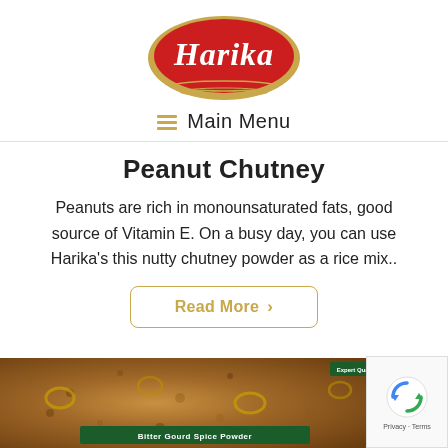[Figure (logo): Harika brand logo — red oval with gold border and white italic text 'Harika']
≡  Main Menu
Peanut Chutney
Peanuts are rich in monounsaturated fats, good source of Vitamin E. On a busy day, you can use Harika's this nutty chutney powder as a rice mix..
Read More >
[Figure (photo): Product image of Bitter Gourd Spice Powder with spices in background; green label at bottom reads 'Bitter Gourd Spice Powder' with Expert Quality badge]
[Figure (other): reCAPTCHA widget showing spinning arrows logo with 'Privacy - Terms' text below]